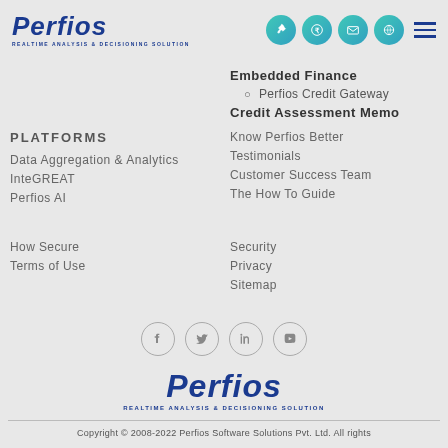[Figure (logo): Perfios logo with tagline REALTIME ANALYSIS & DECISIONING SOLUTION in top-left header]
[Figure (other): Navigation icons: rocket, rupee, mail, globe circles plus hamburger menu]
Embedded Finance
Perfios Credit Gateway
Credit Assessment Memo
PLATFORMS
Data Aggregation & Analytics
InteGREAT
Perfios AI
Know Perfios Better
Testimonials
Customer Success Team
The How To Guide
How Secure
Terms of Use
Security
Privacy
Sitemap
[Figure (other): Social media icons: Facebook, Twitter, LinkedIn, YouTube in circles]
[Figure (logo): Perfios logo with tagline REALTIME ANALYSIS & DECISIONING SOLUTION centered at bottom]
Copyright © 2008-2022 Perfios Software Solutions Pvt. Ltd. All rights